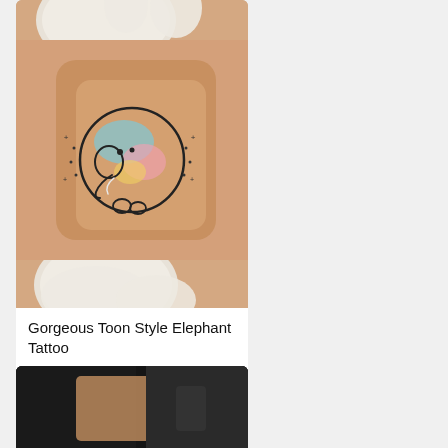[Figure (photo): Close-up photo of a small colorful cartoon-style elephant tattoo inside a circle on skin, held by gloved hands. The tattoo features watercolor-style colors: blue, pink, yellow. Small star/dot accents surround the circle.]
Gorgeous Toon Style Elephant Tattoo
[Figure (photo): Partially visible photo below, showing a dark background with skin visible — another tattoo image cropped at bottom of page.]